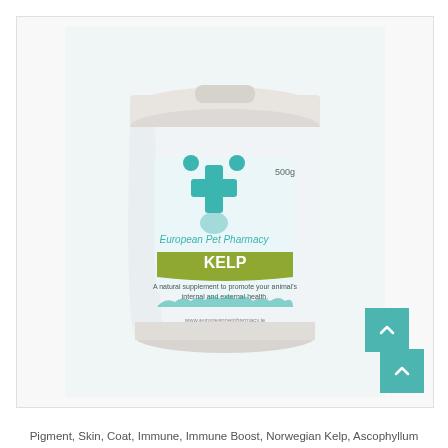[Figure (photo): A white plastic tub/container of European Pet Pharmacy KELP supplement, 500g, with a teal cross logo and paw prints, on a light background. The label shows 'European Pet Pharmacy', 'KELP', and descriptive text about being a natural supplement to promote overall health.]
Pigment, Skin, Coat, Immune, Immune Boost, Norwegian Kelp, Ascophyllum